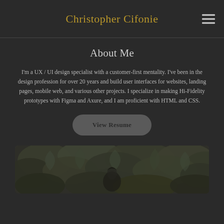Christopher Cifonie
About Me
I'm a UX / UI design specialist with a customer-first mentality. I've been in the design profession for over 20 years and build user interfaces for websites, landing pages, mobile web, and various other projects. I specialize in making Hi-Fidelity prototypes with Figma and Axure, and I am proficient with HTML and CSS.
View Resume
[Figure (photo): Black and white photo of a person partially visible among dense green foliage/leaves]